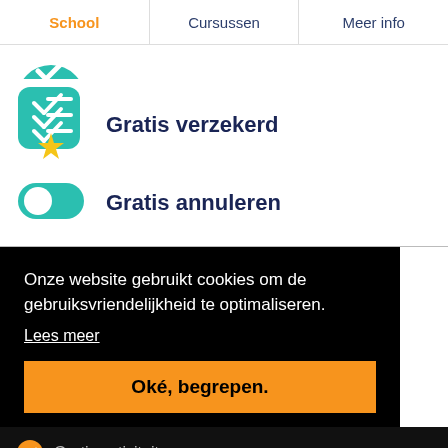School | Cursussen | Meer info
[Figure (illustration): Teal circle icon (partially visible at top)]
[Figure (illustration): Teal checklist icon with gold star]
Gratis verzekerd
[Figure (illustration): Teal toggle switch icon (on state)]
Gratis annuleren
Onze website gebruikt cookies om de gebruiksvriendelijkheid te optimaliseren.
Lees meer
Oké, begrepen.
Gratis activiteiten